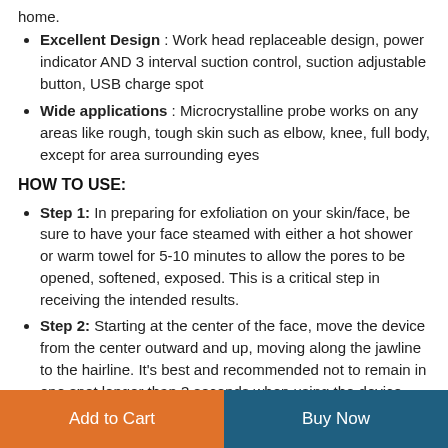home.
Excellent Design : Work head replaceable design, power indicator AND 3 interval suction control, suction adjustable button, USB charge spot
Wide applications : Microcrystalline probe works on any areas like rough, tough skin such as elbow, knee, full body, except for area surrounding eyes
HOW TO USE:
Step 1: In preparing for exfoliation on your skin/face, be sure to have your face steamed with either a hot shower or warm towel for 5-10 minutes to allow the pores to be opened, softened, exposed. This is a critical step in receiving the intended results.
Step 2: Starting at the center of the face, move the device from the center outward and up, moving along the jawline to the hairline. It's best and recommended not to remain in one spot longer than 3 seconds when using the device. This action leads to unintended and
Add to Cart | Buy Now